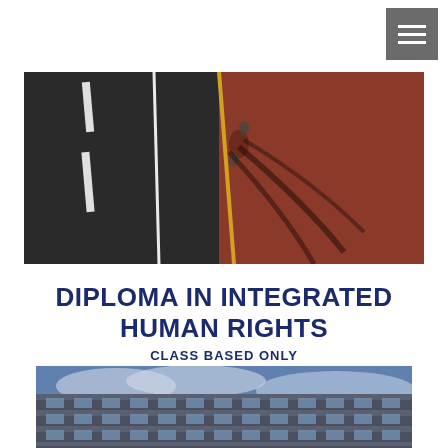[Figure (other): Hamburger menu icon button with three white horizontal lines on a gray background, positioned top right]
[Figure (photo): Aerial view of a person on a bicycle at the boundary between a dark asphalt road with white lane markings and a reddish-brown surface, with long shadows cast diagonally]
DIPLOMA IN INTEGRATED HUMAN RIGHTS
CLASS BASED ONLY
[Figure (photo): Partial view of a modern multi-story building with glass windows against a cloudy blue sky, shot from below at an angle]